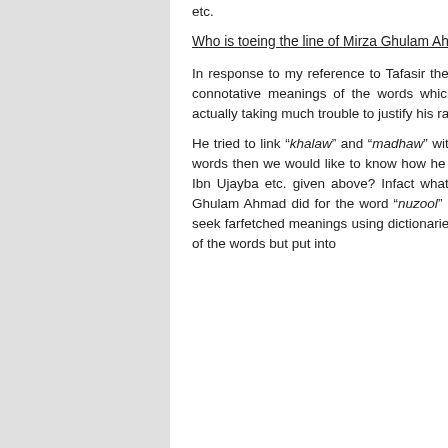etc.
Who is toeing the line of Mirza Ghulam Ahmad?
In response to my reference to Tafasir the only way out he found was to seek secondary, connotative meanings of the words which Ibn Kathir used to explain “khalat” so he is actually taking much trouble to justify his rather useless claim.
He tried to link “khalaw” and “madhaw” with death. If these are the actual meanings of the words then we would like to know how he translates the commentaries of al-Baidhawi and Ibn Ujayba etc. given above? Infact what Mr. Chaudhary is doing is exactly what Mirza Ghulam Ahmad did for the word “nuzool” i.e. to ignore the simple direct meanings and to seek farfetched meanings using dictionaries that are not essentially about the Qur’anic use of the words but put into